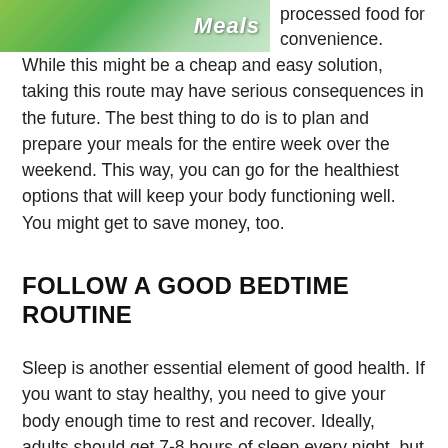[Figure (photo): Partial image of a bowl of healthy meals with green vegetables, with the word 'Meals' visible in italic text overlay]
processed food for convenience. While this might be a cheap and easy solution, taking this route may have serious consequences in the future. The best thing to do is to plan and prepare your meals for the entire week over the weekend. This way, you can go for the healthiest options that will keep your body functioning well. You might get to save money, too.
FOLLOW A GOOD BEDTIME ROUTINE
Sleep is another essential element of good health. If you want to stay healthy, you need to give your body enough time to rest and recover. Ideally, adults should get 7-8 hours of sleep every night, but very few people manage to do this. You can reduce the time you waste tossing and turning in bed by